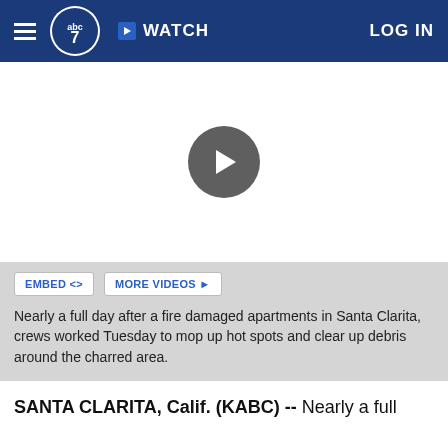abc7 WATCH LOG IN
[Figure (screenshot): Video player area with a dark play button circle in the center on a white background]
EMBED <> MORE VIDEOS ▶
Nearly a full day after a fire damaged apartments in Santa Clarita, crews worked Tuesday to mop up hot spots and clear up debris around the charred area.
SANTA CLARITA, Calif. (KABC) -- Nearly a full